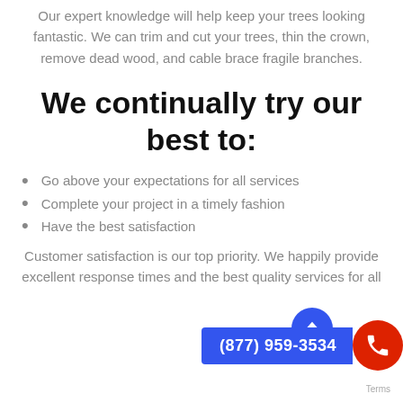Our expert knowledge will help keep your trees looking fantastic. We can trim and cut your trees, thin the crown, remove dead wood, and cable brace fragile branches.
We continually try our best to:
Go above your expectations for all services
Complete your project in a timely fashion
Have the best satisfaction
Customer satisfaction is our top priority. We happily provide excellent response times and the best quality services for all
(877) 959-3534